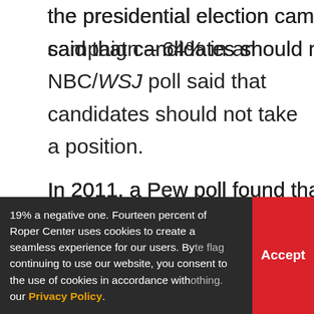the presidential election campaign – 64% in an NBC/WSJ poll said that candidates should not take a position.
In 2011, a Pew poll found that just 9% of the country had a positive reaction to seeing the Confederate flag, while 30% had a negative one and 58% had neither. Among those respondents who considered themselves to be Southerners, 18% had a positive reaction and 19% a negative one. Fourteen percent of respondents considered the Confederate flag to be offensive, while 53% found it to be nothing ...
Roper Center uses cookies to create a seamless experience for our users. By continuing to use our website, you consent to the use of cookies in accordance with our Privacy Policy.